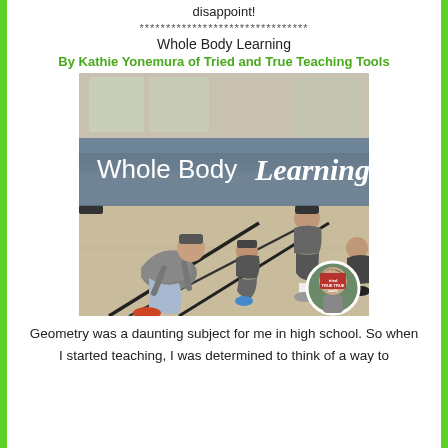disappoint!
********************************
Whole Body Learning
By Kathie Yonemura of Tried and True Teaching Tools
[Figure (photo): Children doing geometry activity outdoors tracing lines on pavement with overlay text 'Whole Body Learning' and teacher avatar circle in corner]
Geometry was a daunting subject for me in high school. So when I started teaching, I was determined to think of a way to